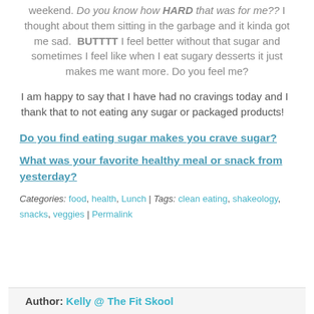weekend. Do you know how HARD that was for me?? I thought about them sitting in the garbage and it kinda got me sad.  BUTTTT I feel better without that sugar and sometimes I feel like when I eat sugary desserts it just makes me want more. Do you feel me?
I am happy to say that I have had no cravings today and I thank that to not eating any sugar or packaged products!
Do you find eating sugar makes you crave sugar?
What was your favorite healthy meal or snack from yesterday?
Categories: food, health, Lunch | Tags: clean eating, shakeology, snacks, veggies | Permalink
Author: Kelly @ The Fit Skool